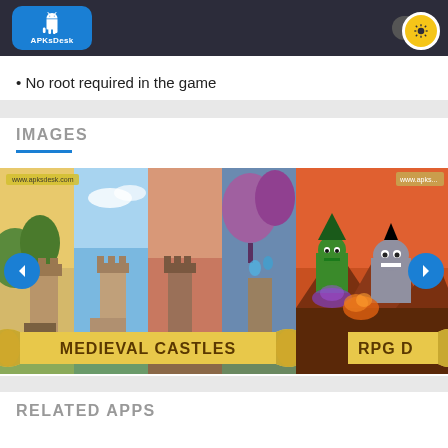APKsDesk
• No root required in the game
IMAGES
[Figure (screenshot): Game screenshots carousel showing Medieval Castles and RPG battle scenes with navigation arrows on left and right sides]
RELATED APPS